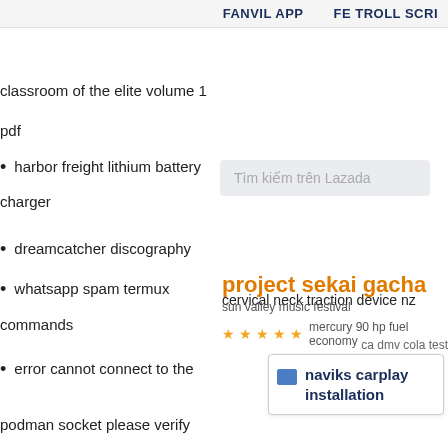FANVIL APP   FE TROLL SCRI
classroom of the elite volume 1
pdf
Tìm kiếm trên Lazada
harbor freight lithium battery
charger
dreamcatcher discography
cervical neck traction device nz
whatsapp spam termux
commands
project sekai gacha
sun valley music festival
mercury 90 hp fuel economy
ca dmv cola test
error cannot connect to the
naviks carplay installation
podman socket please verify